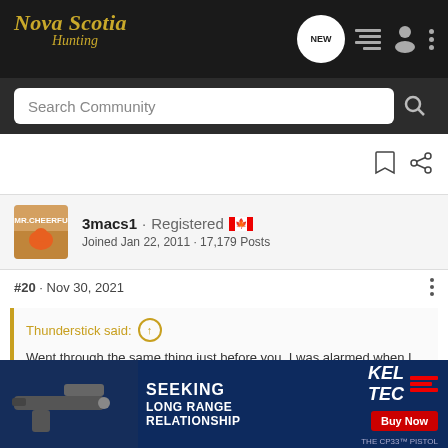Nova Scotia Hunting
Search Community
3macs1 · Registered
Joined Jan 22, 2011 · 17,179 Posts
#20 · Nov 30, 2021
Thunderstick said:
Went through the same thing just before you. I was alarmed when I found out that the doctor that did it was not there. Got a lady from India who the last words I heard them say was they thought she could d... mpts, my vis... e once before... Our
[Figure (screenshot): Kel-Tec advertisement banner showing a pistol and text: SEEKING LONG RANGE RELATIONSHIP, THE CP33 PISTOL, Buy Now]